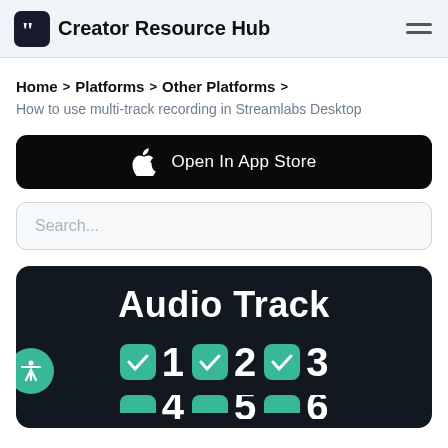Creator Resource Hub
Home > Platforms > Other Platforms >
How to use multi-track recording in Streamlabs Desktop
[Figure (screenshot): Open In App Store button with Apple logo on black background]
Search...
[Figure (screenshot): Audio Track panel showing checkboxes for tracks 1, 2, 3 and partial view of 4, 5, 6 on dark background]